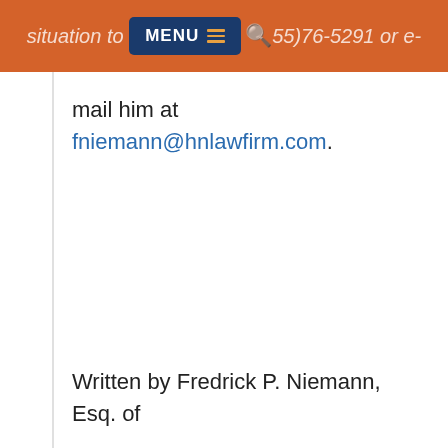situation to (55)76-5291 or e-mail him at fniemann@hnlawfirm.com.
mail him at fniemann@hnlawfirm.com.
Written by Fredrick P. Niemann, Esq. of